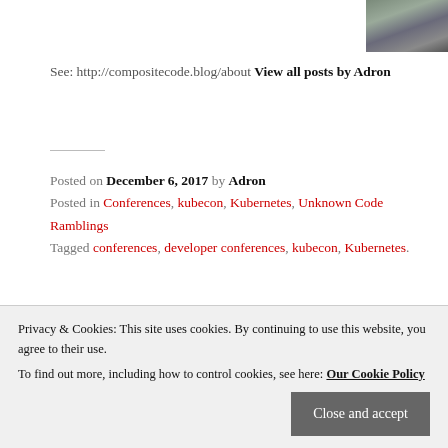[Figure (photo): Author avatar photo in upper right corner]
See: http://compositecode.blog/about View all posts by Adron
Posted on December 6, 2017 by Adron
Posted in Conferences, kubecon, Kubernetes, Unknown Code Ramblings
Tagged conferences, developer conferences, kubecon, Kubernetes.
Previous
KUBECON – ARRIVAL, FLIGHT, AND SCHEDULING
Next
Privacy & Cookies: This site uses cookies. By continuing to use this website, you agree to their use.
To find out more, including how to control cookies, see here: Our Cookie Policy
Close and accept